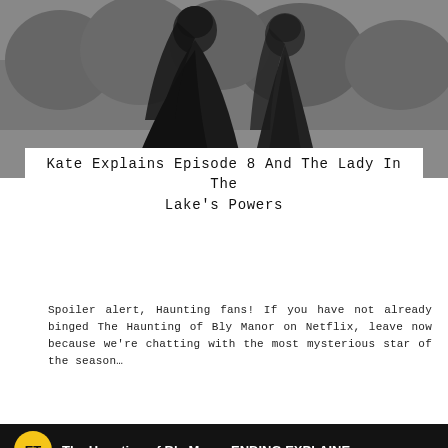[Figure (photo): Black and white photo of two women draped in dark veils/capes standing outdoors with trees in background, from The Haunting of Bly Manor]
Kate Explains Episode 8 And The Lady In The Lake’s Powers
Spoiler alert, Haunting fans! If you have not already binged The Haunting of Bly Manor on Netflix, leave now because we’re chatting with the most mysterious star of the season…
[Figure (screenshot): YouTube video embed showing ET channel logo (yellow circle with ET text), title 'The Haunting of Bly Manor ENDING EXPLAINED' and thumbnail showing a smiling woman on left and dark-veiled figure on right with red YouTube play button overlay]